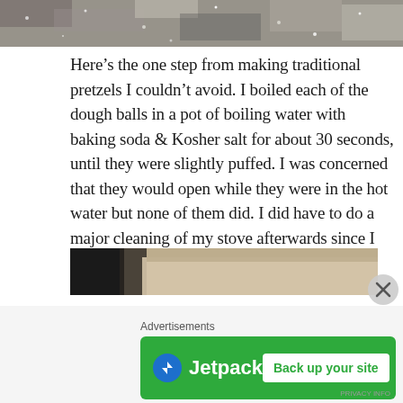[Figure (photo): Top portion of a photo showing granite or stone texture with sparkly mineral flecks]
Here’s the one step from making traditional pretzels I couldn’t avoid. I boiled each of the dough balls in a pot of boiling water with baking soda & Kosher salt for about 30 seconds, until they were slightly puffed. I was concerned that they would open while they were in the hot water but none of them did. I did have to do a major cleaning of my stove afterwards since I had so much residue from the steam of the water.
[Figure (photo): Bottom portion of a photo showing what appears to be a baking or cooking scene with dark and light surfaces]
Advertisements
[Figure (other): Jetpack advertisement banner with green background showing Jetpack logo and 'Back up your site' button]